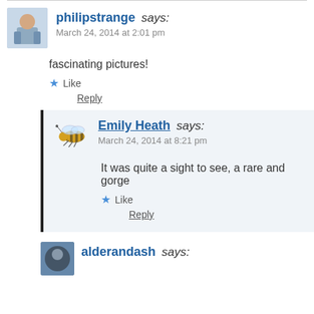philipstrange says: March 24, 2014 at 2:01 pm
fascinating pictures!
Like
Reply
Emily Heath says: March 24, 2014 at 8:21 pm
It was quite a sight to see, a rare and gorge
Like
Reply
alderandash says: